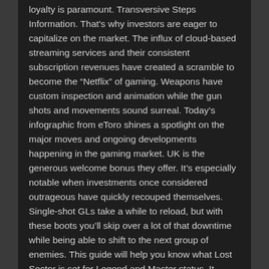loyalty is paramount. Transversive Steps Information. That's why investors are eager to capitalize on the market. The influx of cloud-based streaming services and their consistent subscription revenues have created a scramble to become the “Netflix” of gaming. Weapons have custom inspection and animation while the gun shots and movements sound surreal. Today’s infographic from eToro shines a spotlight on the major moves and ongoing developments happening in the gaming market. UK is the generous welcome bonus they offer. It’s especially notable when investments once considered outrageous have quickly recouped themselves. Single-shot GLs take a while to reload, but with these boots you’ll skip over a lot of that downtime while being able to shift to the next group of enemies. This guide will help you know what Lost Sector is set for Legend and Master status. It seems clear that Surrogate.tv is looking to expand beyond its own entertainment site, offering up its teleoperation technology to interested third-parties. Great User Experience: Newer casinos can learn from the mistakes of older gambling sites and They With